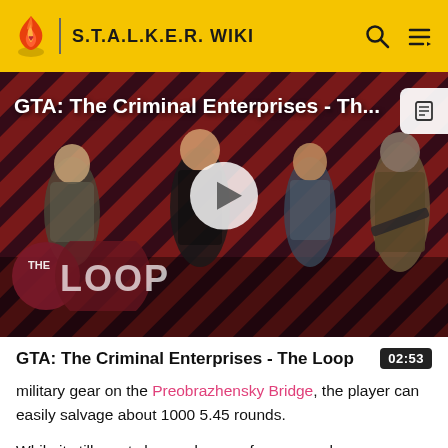S.T.A.L.K.E.R. WIKI
[Figure (screenshot): Video thumbnail for GTA: The Criminal Enterprises - The Loop, showing game characters on a red striped background with a play button and The Loop logo overlay]
GTA: The Criminal Enterprises - The Loop
02:53
military gear on the Preobrazhensky Bridge, the player can easily salvage about 1000 5.45 rounds.
While it still sports horrendous performance when